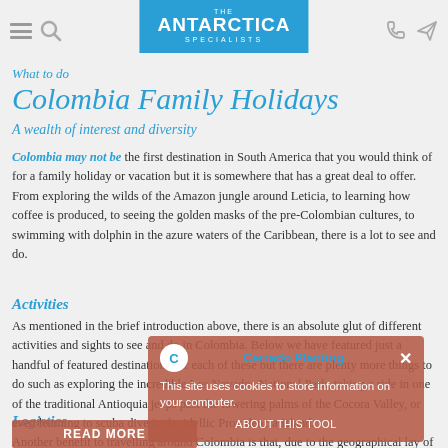THE ANTARCTICA SPECIALISTS
What to do
Colombia Family Holidays
A wealth of interest and diversity
Colombia may not be the first destination in South America that you would think of for a family holiday or vacation but it is somewhere that has a great deal to offer. From exploring the wilds of the Amazon jungle around Leticia, to learning how coffee is produced, to seeing the golden masks of the pre-Colombian cultures, to swimming with dolphin in the azure waters of the Caribbean, there is a lot to see and do.
Activities
As mentioned in the brief introduction above, there is an absolute glut of different activities and sights to see and do in Colombia. Below we have featured just a handful of featured destinations for each of these but there are plenty more things to do such as exploring the incredible Los Nevados National Park, taking a ride in one of the traditional Antioquia jeeps past the towering palms of the Cocora Valley, or even learning to scuba dive in the idyllic Providencia Island.
Logistics
Another benefit to travelling around Colombia is that, due to the geographical lay of the land...